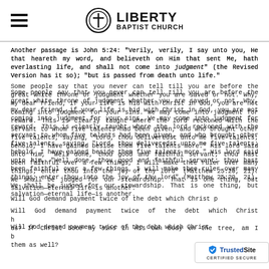Liberty Baptist Church
Another passage is John 5:24: "Verily, verily, I say unto you, He that heareth my word, and believeth on Him that sent Me, hath everlasting life, and shall not come into judgment" (the Revised Version has it so); "but is passed from death unto life."
Some people say that you never can tell till you are before the great white throne of judgment whether you are saved or not. Why, my dear friend, if your life is hid with Christ in God, you are not coming into judgment for your sins. We may come into judgment for reward. This is clearly taught where the lord reckoned with the servant to whom five talents had been given, and who brought other five talents, saying, "Lord, thou deliveredst unto me five talents; behold, I have gained beside them five talents more." His lord said unto him, "Well done, thou good and faithful servant; thou hast been faithful over a few things, I will make thee ruler over many things; enter thou into the joy of thy lord" (Matthew 25:20, 21). We shall be judged for our stewardship. That is one thing, but salvation—eternal life—is another.
Will God demand payment twice of the debt which Christ paid for us? If Christ bore my sins in His own body on the tree, am I to bear them as well?